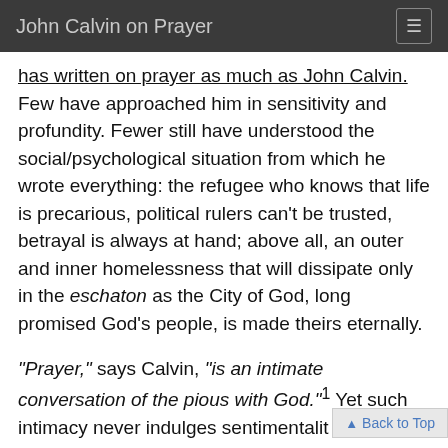John Calvin on Prayer
has written on prayer as much as John Calvin. Few have approached him in sensitivity and profundity. Fewer still have understood the social/psychological situation from which he wrote everything: the refugee who knows that life is precarious, political rulers can't be trusted, betrayal is always at hand; above all, an outer and inner homelessness that will dissipate only in the eschaton as the City of God, long promised God's people, is made theirs eternally.
"Prayer," says Calvin, "is an intimate conversation of the pious with God."1 Yet such intimacy never indulges sentimentalit